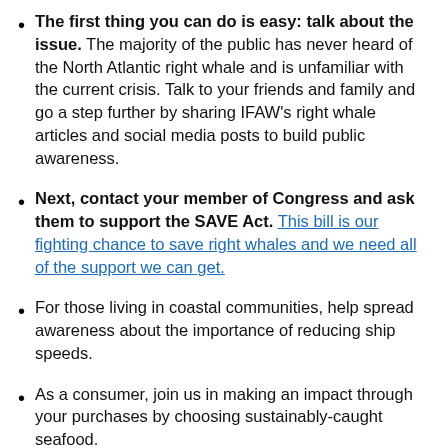The first thing you can do is easy: talk about the issue. The majority of the public has never heard of the North Atlantic right whale and is unfamiliar with the current crisis. Talk to your friends and family and go a step further by sharing IFAW's right whale articles and social media posts to build public awareness.
Next, contact your member of Congress and ask them to support the SAVE Act. This bill is our fighting chance to save right whales and we need all of the support we can get.
For those living in coastal communities, help spread awareness about the importance of reducing ship speeds.
As a consumer, join us in making an impact through your purchases by choosing sustainably-caught seafood.